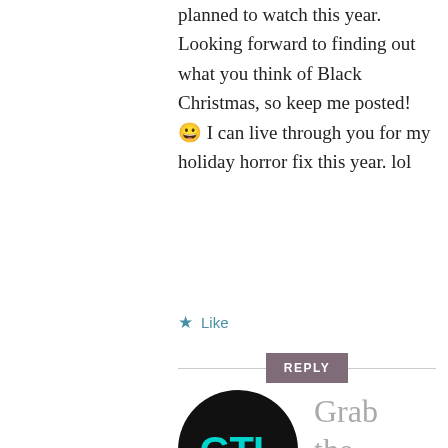planned to watch this year. Looking forward to finding out what you think of Black Christmas, so keep me posted! 😀 I can live through you for my holiday horror fix this year. lol
★ Like
REPLY
[Figure (logo): GTL logo — circular black background with teal/cyan bold letters GTL]
Grab the Lapels